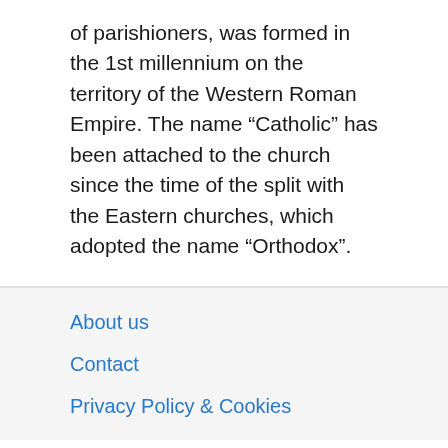of parishioners, was formed in the 1st millennium on the territory of the Western Roman Empire. The name “Catholic” has been attached to the church since the time of the split with the Eastern churches, which adopted the name “Orthodox”.
About us
Contact
Privacy Policy & Cookies
ATTENTION TO RIGHT HOLDERS! All materials are posted on the site strictly for informational and educational purposes! If you believe that the posting of any material